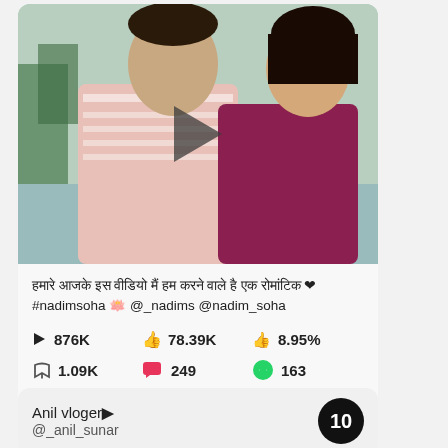[Figure (photo): Couple photo - man in pink striped polo shirt and woman in magenta/maroon top, near a lake or river. A play button overlay is visible in the center.]
हमारे आजके इस वीडियो मैं हम करने वाले है एक रोमांटिक ❤️#nadimsoha 🪷 @_nadims @nadim_soha
▶ 876K    👍78.39K    🔗8.95%
⬇1.09K    💬249    🟢163
Anil vloger▶
@_anil_sunar